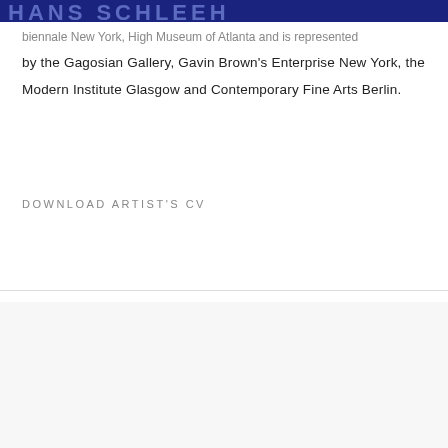HANS SCHLEEH
biennale New York, High Museum of Atlanta and is represented by the Gagosian Gallery, Gavin Brown's Enterprise New York, the Modern Institute Glasgow and Contemporary Fine Arts Berlin.
DOWNLOAD ARTIST'S CV
Manage cookies
COPYRIGHT © 2022 HDM GALLERY    SITE BY ARTLOGIC